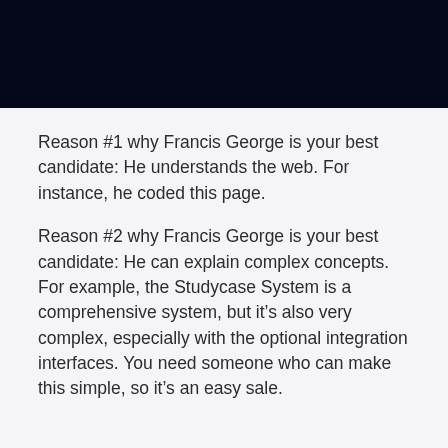Reason #1 why Francis George is your best candidate: He understands the web. For instance, he coded this page.
Reason #2 why Francis George is your best candidate: He can explain complex concepts. For example, the Studycase System is a comprehensive system, but it’s also very complex, especially with the optional integration interfaces. You need someone who can make this simple, so it’s an easy sale.